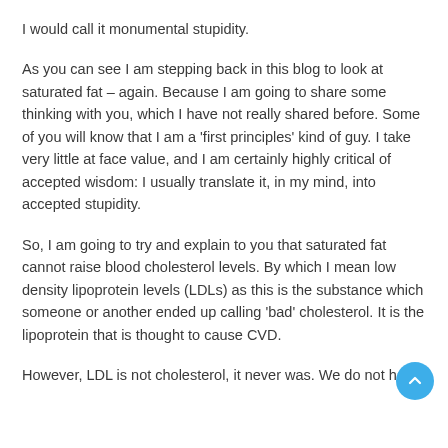I would call it monumental stupidity.
As you can see I am stepping back in this blog to look at saturated fat – again. Because I am going to share some thinking with you, which I have not really shared before. Some of you will know that I am a 'first principles' kind of guy. I take very little at face value, and I am certainly highly critical of accepted wisdom: I usually translate it, in my mind, into accepted stupidity.
So, I am going to try and explain to you that saturated fat cannot raise blood cholesterol levels. By which I mean low density lipoprotein levels (LDLs) as this is the substance which someone or another ended up calling 'bad' cholesterol. It is the lipoprotein that is thought to cause CVD.
However, LDL is not cholesterol, it never was. We do not have